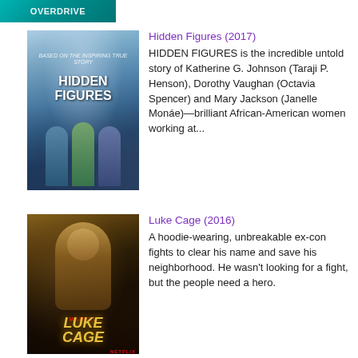[Figure (screenshot): Top banner with teal/cyan gradient background and white text logo]
[Figure (photo): Movie poster for Hidden Figures (2017) showing three African-American women standing in front of a space-age backdrop]
Hidden Figures (2017)
HIDDEN FIGURES is the incredible untold story of Katherine G. Johnson (Taraji P. Henson), Dorothy Vaughan (Octavia Spencer) and Mary Jackson (Janelle Monáe)—brilliant African-American women working at...
[Figure (photo): TV show poster for Luke Cage (2016) showing a muscular man in a hoodie with Marvel and Netflix branding, dark orange/gold tones]
Luke Cage (2016)
A hoodie-wearing, unbreakable ex-con fights to clear his name and save his neighborhood. He wasn't looking for a fight, but the people need a hero.